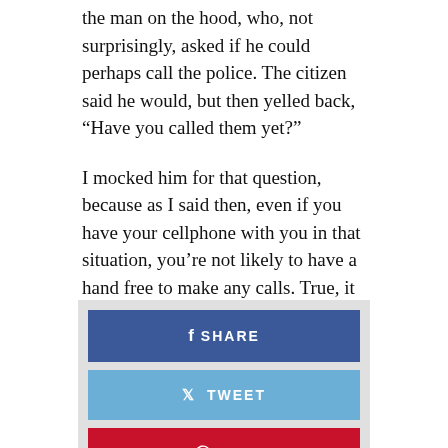the man on the hood, who, not surprisingly, asked if he could perhaps call the police. The citizen said he would, but then yelled back, “Have you called them yet?”
I mocked him for that question, because as I said then, even if you have your cellphone with you in that situation, you’re not likely to have a hand free to make any calls. True, it worked in the Maryland case, but that man is a professional. Please don’t try it yourself.
But if you do, please have someone film it.
[Figure (infographic): Social sharing buttons: Facebook SHARE (blue), Twitter TWEET (light blue), Pinterest PIN (red)]